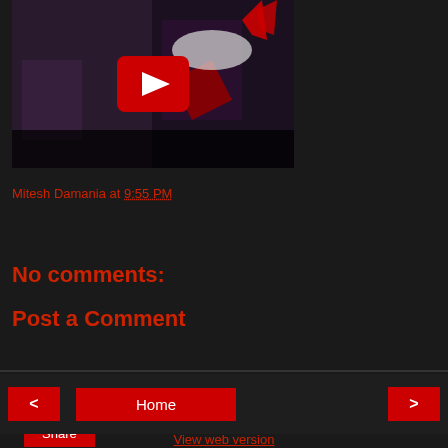[Figure (screenshot): YouTube video thumbnail showing two women in dramatic costumes with a red YouTube play button overlay]
Mitesh Damania at 9:55 PM
Share
No comments:
Post a Comment
Home
View web version